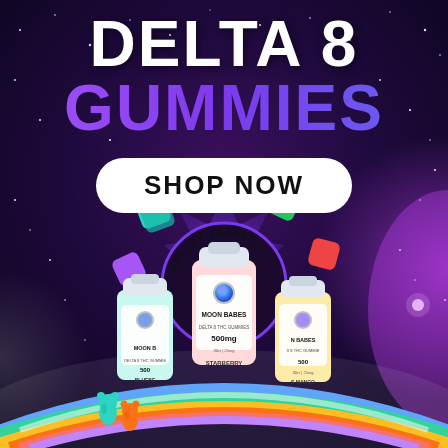[Figure (illustration): Advertisement for Delta 8 Gummies by Galaxy Treats. Space-themed background (deep purple/dark blue with stars). Large white bold text 'DELTA 8' and purple gradient bold text 'GUMMIES' at top. White pill-shaped button with black bold text 'SHOP NOW'. Center features Galaxy Treats astronaut logo surrounded by colorful gummy candy pieces. Bottom shows three product bottles labeled 'Moon Babes' in blueberry, starberry, and mango flavors, sitting on a rainbow-striped arc. Small teal and red gummy bears visible at bottom left.]
DELTA 8 GUMMIES
SHOP NOW